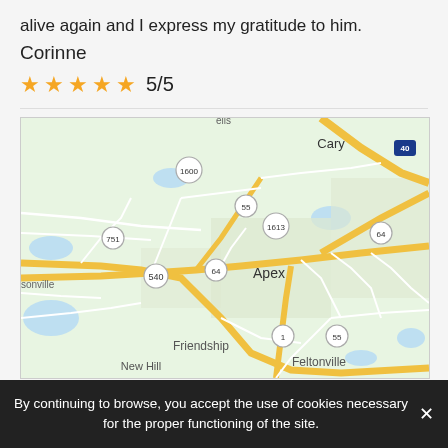alive again and I express my gratitude to him.
Corinne
★★★★★ 5/5
[Figure (map): Google Maps view showing Apex, NC area with roads 540, 64, 55, 1, 1613, 751, 1600, and nearby localities including Cary, Friendship, New Hill, Feltonville. Interstate 40 visible in upper right.]
By continuing to browse, you accept the use of cookies necessary for the proper functioning of the site.